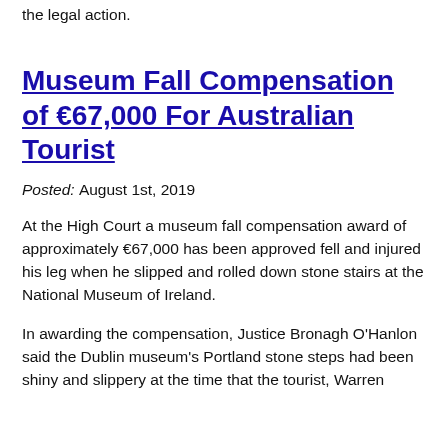having included them in the statement of claim as part of the legal action.
Museum Fall Compensation of €67,000 For Australian Tourist
Posted: August 1st, 2019
At the High Court a museum fall compensation award of approximately €67,000 has been approved fell and injured his leg when he slipped and rolled down stone stairs at the National Museum of Ireland.
In awarding the compensation, Justice Bronagh O'Hanlon said the Dublin museum's Portland stone steps had been shiny and slippery at the time that the tourist, Warren